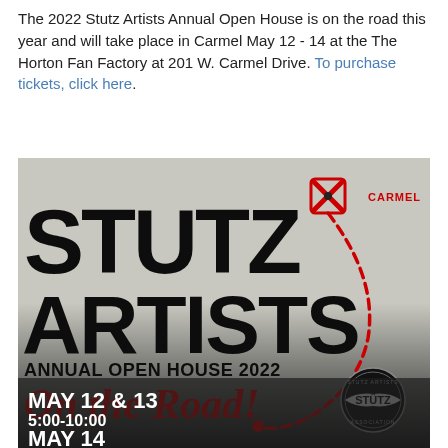The 2022 Stutz Artists Annual Open House is on the road this year and will take place in Carmel May 12 - 14 at the The Horton Fan Factory at 201 W. Carmel Drive. To purchase tickets, click here.
[Figure (illustration): Promotional poster for Stutz Artists Annual Open House 2022 'On the Road!' event. Features large bold black text 'STUTZ ARTISTS' over a map background with a red X marker labeled CARMEL and a dashed red arrow path. Below reads 'ANNUAL OPEN HOUSE 2022' and in red cursive 'On the Road!' with a Stutz Artists Association logo. Bottom shows a vintage black-and-white racing car photo with white text: MAY 12 & 13 / 5:00-10:00 / MAY 14.]